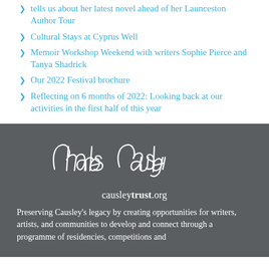tells us about her latest novel ahead of her Launceston Author Tour
Cultural Stays at Cyprus Well
Memoir Workshop Weekend with writers Sophie Pierce and Tanya Shadrick
Our 2022 Festival brochure
Reflecting on 6 months of 2022: Looking back at our activities in the first half of this year
[Figure (logo): Charles Causley handwritten signature logo in white on dark grey background, with causleytrust.org below]
Preserving Causley's legacy by creating opportunities for writers, artists, and communities to develop and connect through a programme of residencies, competitions and